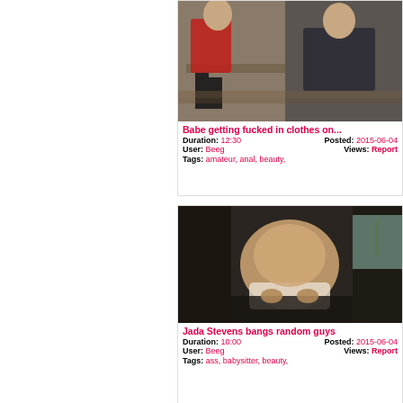[Figure (photo): Two people sitting on a bench outdoors, one in a red jacket with black boots, another in a dark jacket examining something]
Babe getting fucked in clothes on...
Duration: 12:30   Posted: 2015-06-04
User: Beeg   Views:   Report
Tags: amateur, anal, beauty,
[Figure (photo): Woman posing in the back of a vehicle]
Jada Stevens bangs random guys
Duration: 10:00   Posted: 2015-06-04
User: Beeg   Views:   Report
Tags: ass, babysitter, beauty,